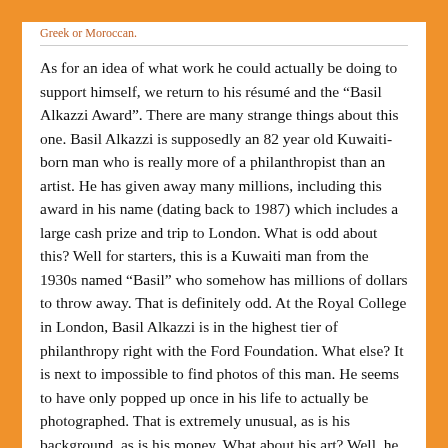Greek or Moroccan.
As for an idea of what work he could actually be doing to support himself, we return to his résumé and the “Basil Alkazzi Award”. There are many strange things about this one. Basil Alkazzi is supposedly an 82 year old Kuwaiti-born man who is really more of a philanthropist than an artist. He has given away many millions, including this award in his name (dating back to 1987) which includes a large cash prize and trip to London. What is odd about this? Well for starters, this is a Kuwaiti man from the 1930s named “Basil” who somehow has millions of dollars to throw away. That is definitely odd. At the Royal College in London, Basil Alkazzi is in the highest tier of philanthropy right with the Ford Foundation. What else? It is next to impossible to find photos of this man. He seems to have only popped up once in his life to actually be photographed. That is extremely unusual, as is his background, as is his money. What about his art? Well, he